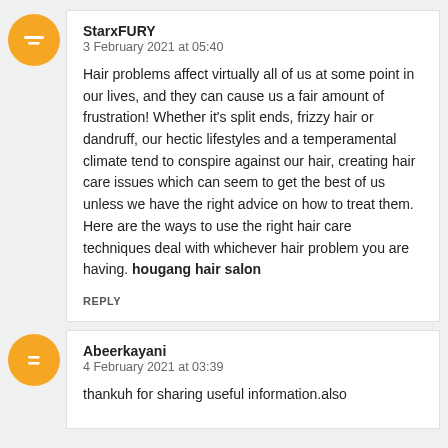[Figure (illustration): Orange Blogger avatar circle icon for StarxFURY comment]
StarxFURY
3 February 2021 at 05:40
Hair problems affect virtually all of us at some point in our lives, and they can cause us a fair amount of frustration! Whether it's split ends, frizzy hair or dandruff, our hectic lifestyles and a temperamental climate tend to conspire against our hair, creating hair care issues which can seem to get the best of us unless we have the right advice on how to treat them. Here are the ways to use the right hair care techniques deal with whichever hair problem you are having. hougang hair salon
REPLY
[Figure (illustration): Orange Blogger avatar circle icon for Abeerkayani comment]
Abeerkayani
4 February 2021 at 03:39
thankuh for sharing useful information.also